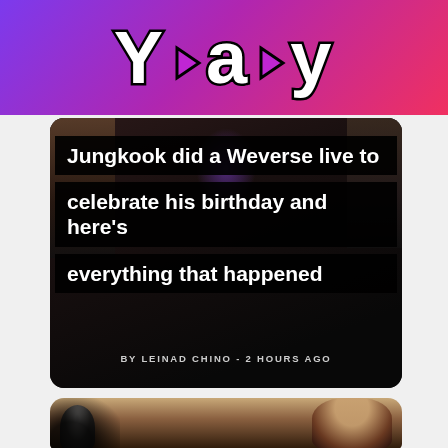Yaay
[Figure (screenshot): Article card showing Jungkook Weverse live birthday stream thumbnail with dark background and bold white text overlay. Title: Jungkook did a Weverse live to celebrate his birthday and here's everything that happened. Byline: BY LEINAD CHINO - 2 HOURS AGO]
[Figure (photo): Second article card showing a person at a microphone in warm/sepia toned photo]